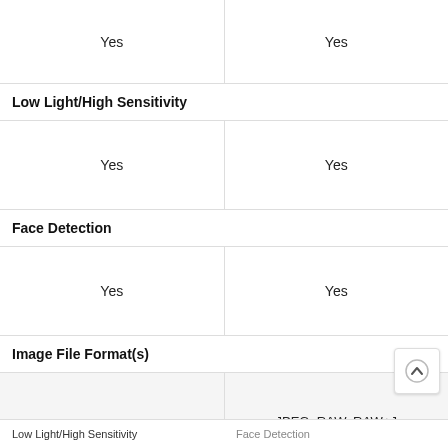|  | Col1 | Col2 |
| --- | --- | --- |
|  | Yes | Yes |
| Low Light/High Sensitivity |  |  |
|  | Yes | Yes |
| Face Detection |  |  |
|  | Yes | Yes |
| Image File Format(s) |  |  |
|  | JPEG, RAW, RAW+JPEG | JPEG, RAW, RAW+JPEG MOV |
Low Light/High Sensitivity   Face Detection